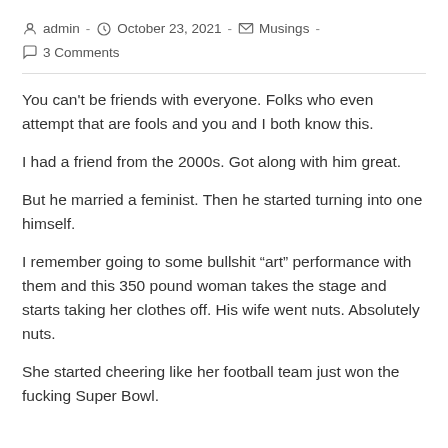admin - October 23, 2021 - Musings - 3 Comments
You can’t be friends with everyone. Folks who even attempt that are fools and you and I both know this.
I had a friend from the 2000s. Got along with him great.
But he married a feminist. Then he started turning into one himself.
I remember going to some bullshit “art” performance with them and this 350 pound woman takes the stage and starts taking her clothes off. His wife went nuts. Absolutely nuts.
She started cheering like her football team just won the fucking Super Bowl.